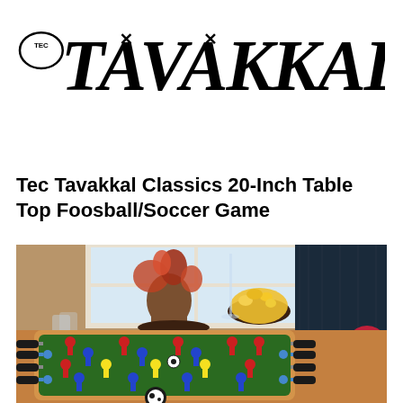[Figure (logo): Tec Tavakkal brand logo with stylized blackletter/gothic font text reading TEC TAVAKKAL]
Tec Tavakkal Classics 20-Inch Table Top Foosball/Soccer Game
[Figure (photo): Photo of a tabletop foosball/soccer game on a wooden dining table, with players in red and blue/white teams, black handles, and a soccer ball design on the front. Background shows a window with natural light, a vase with flowers, a bowl of popcorn, and a red cushion.]